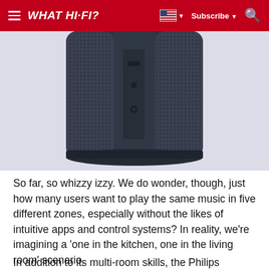WHAT HI-FI? | Subscribe | Search
[Figure (photo): Close-up rear view of a dark gray Philips wireless speaker showing mesh grille, ports and connectors on a light background]
So far, so whizzy izzy. We do wonder, though, just how many users want to play the same music in five different zones, especially without the likes of intuitive apps and control systems? In reality, we’re imagining a ‘one in the kitchen, one in the living room’ scenario.
In addition to its multi-room skills, the Philips doesn’t